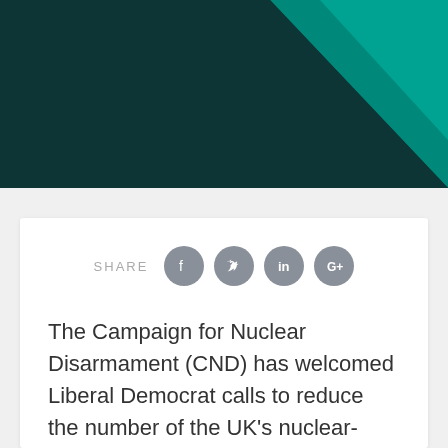[Figure (illustration): Dark teal/green geometric header graphic with a lighter teal triangle shape in the upper right corner on a dark green background]
The Campaign for Nuclear Disarmament (CND) has welcomed Liberal Democrat calls to reduce the number of the UK’s nuclear-armed submarines, but has also urged the government to